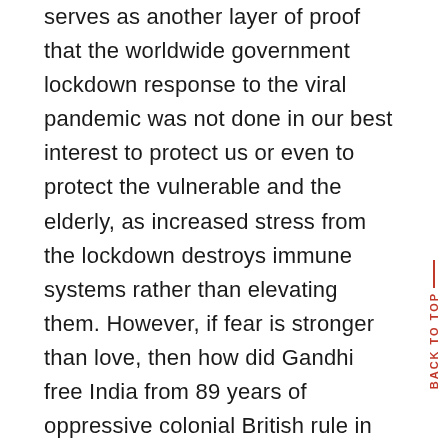serves as another layer of proof that the worldwide government lockdown response to the viral pandemic was not done in our best interest to protect us or even to protect the vulnerable and the elderly, as increased stress from the lockdown destroys immune systems rather than elevating them. However, if fear is stronger than love, then how did Gandhi free India from 89 years of oppressive colonial British rule in 1947 by preaching non violence and love? How did Bob Marley bring two opposition party leaders that hated each other during a civil war in Jamaica on stage and convince them to shake hands on 22 April 1978 in a concert appropriately named the OneLove Peace concert. Incidentally just two years prior in 1976, Bob Marley took to the stage